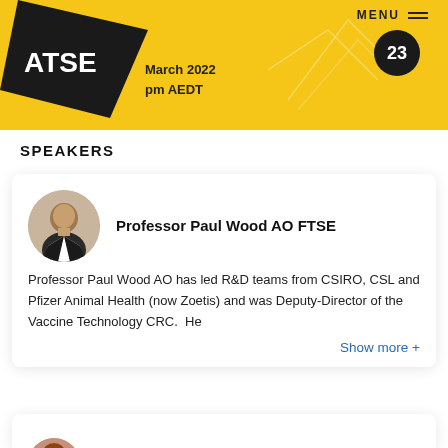ATSE | March 2022 | pm AEDT
SPEAKERS
Professor Paul Wood AO FTSE
Professor Paul Wood AO has led R&D teams from CSIRO, CSL and Pfizer Animal Health (now Zoetis) and was Deputy-Director of the Vaccine Technology CRC.  He
Show more +
Professor Michelle Colgrave